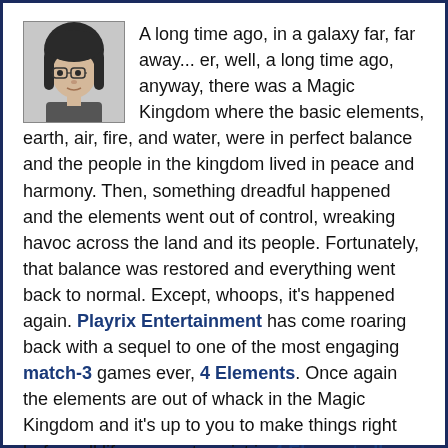[Figure (photo): Grayscale headshot photo of a woman with glasses and dark hair]
A long time ago, in a galaxy far, far away... er, well, a long time ago, anyway, there was a Magic Kingdom where the basic elements, earth, air, fire, and water, were in perfect balance and the people in the kingdom lived in peace and harmony. Then, something dreadful happened and the elements went out of control, wreaking havoc across the land and its people. Fortunately, that balance was restored and everything went back to normal. Except, whoops, it's happened again. Playrix Entertainment has come roaring back with a sequel to one of the most engaging match-3 games ever, 4 Elements. Once again the elements are out of whack in the Magic Kingdom and it's up to you to make things right before all life ceases to exist in 4 Elements II. Prepare for tons of elemental delights!